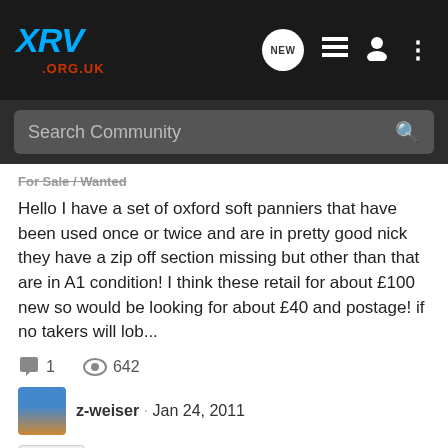XRV .ORG.UK
Hello I have a set of oxford soft panniers that have been used once or twice and are in pretty good nick they have a zip off section missing but other than that are in A1 condition! I think these retail for about £100 new so would be looking for about £40 and postage! if no takers will lob...
1  642
z-weiser · Jan 24, 2011
takers
For Sale: Honda XL600LMF
Bikes For Sale / Wanted
[/URL][/IMG]I have had my XL on ebay a few times and had